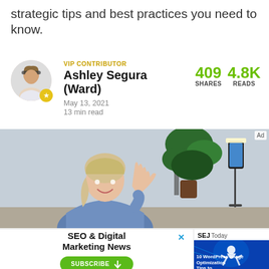strategic tips and best practices you need to know.
VIP CONTRIBUTOR
Ashley Segura (Ward)
May 13, 2021
13 min read
409 SHARES   4.8K READS
[Figure (photo): Woman smiling, filming herself with a smartphone on a tripod stand, green plant in background, blue-grey room setting]
[Figure (infographic): Advertisement banner: SEO & Digital Marketing News subscribe prompt with SEJ Today newsletter preview image on the right]